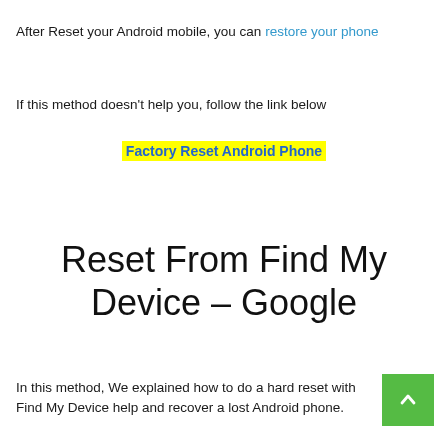After Reset your Android mobile, you can restore your phone
If this method doesn't help you, follow the link below
Factory Reset Android Phone
Reset From Find My Device – Google
In this method, We explained how to do a hard reset with Find My Device help and recover a lost Android phone.